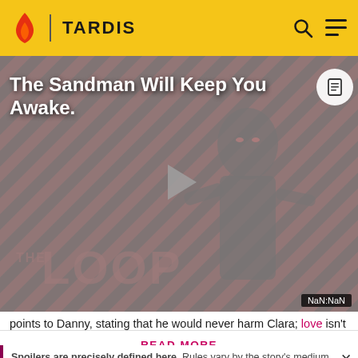TARDIS
[Figure (screenshot): Video thumbnail for 'The Sandman Will Keep You Awake' with a dark figure, diagonal red/black stripes background, play button overlay, THE LOOP logo watermark, and NaN:NaN time indicator]
The Sandman Will Keep You Awake.
points to Danny, stating that he would never harm Clara; love isn't an emotion, but a promise. Danny raises an arm
Spoilers are precisely defined here. Rules vary by the story's medium. Info from television stories can't be added here
READ MORE